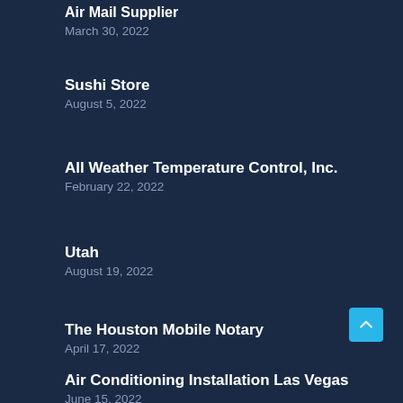Air Mail Supplier
March 30, 2022
Sushi Store
August 5, 2022
All Weather Temperature Control, Inc.
February 22, 2022
Utah
August 19, 2022
The Houston Mobile Notary
April 17, 2022
Air Conditioning Installation Las Vegas
June 15, 2022